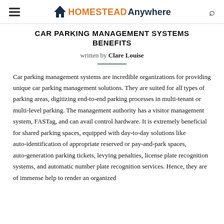HOMESTEAD Anywhere
CAR PARKING MANAGEMENT SYSTEMS BENEFITS
written by Clare Louise
Car parking management systems are incredible organizations for providing unique car parking management solutions. They are suited for all types of parking areas, digitizing end-to-end parking processes in multi-tenant or multi-level parking. The management authority has a visitor management system, FASTag, and can avail control hardware. It is extremely beneficial for shared parking spaces, equipped with day-to-day solutions like auto-identification of appropriate reserved or pay-and-park spaces, auto-generation parking tickets, levying penalties, license plate recognition systems, and automatic number plate recognition services. Hence, they are of immense help to render an organized